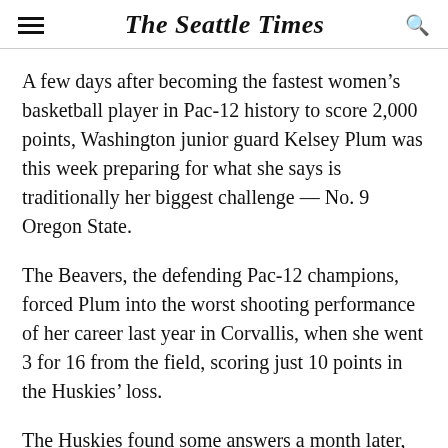The Seattle Times
A few days after becoming the fastest women’s basketball player in Pac-12 history to score 2,000 points, Washington junior guard Kelsey Plum was this week preparing for what she says is traditionally her biggest challenge — No. 9 Oregon State.
The Beavers, the defending Pac-12 champions, forced Plum into the worst shooting performance of her career last year in Corvallis, when she went 3 for 16 from the field, scoring just 10 points in the Huskies’ loss.
The Huskies found some answers a month later, knocking off then-No. 7 Oregon State, 76-67, UW’s third consecutive upset of a top-10 team at home.